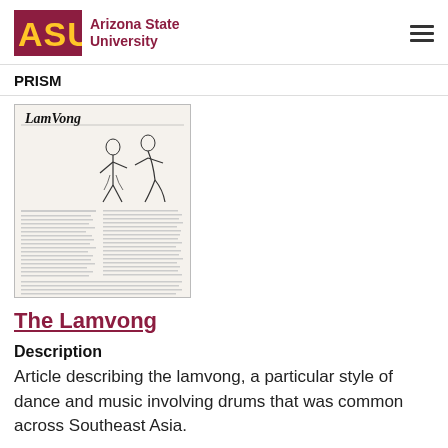ASU Arizona State University
PRISM
[Figure (illustration): Scanned newspaper/magazine article titled 'LamVong' with text columns and an illustration of two figures dancing in traditional Southeast Asian style.]
The Lamvong
Description
Article describing the lamvong, a particular style of dance and music involving drums that was common across Southeast Asia.